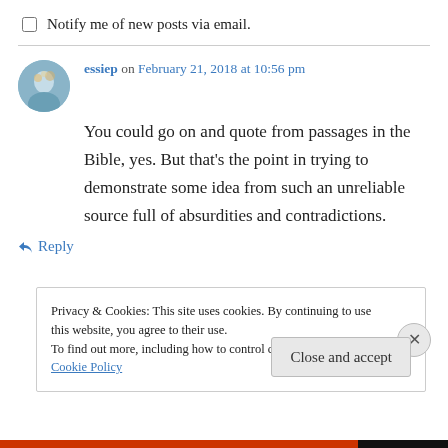Notify me of new posts via email.
essiep on February 21, 2018 at 10:56 pm
You could go on and quote from passages in the Bible, yes. But that's the point in trying to demonstrate some idea from such an unreliable source full of absurdities and contradictions.
↳ Reply
Privacy & Cookies: This site uses cookies. By continuing to use this website, you agree to their use.
To find out more, including how to control cookies, see here: Cookie Policy